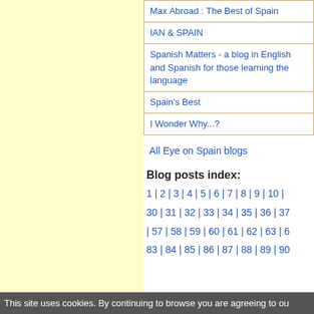| Max Abroad : The Best of Spain |
| IAN & SPAIN |
| Spanish Matters - a blog in English and Spanish for those learning the language |
| Spain's Best |
| I Wonder Why...? |
All Eye on Spain blogs
Blog posts index:
1 | 2 | 3 | 4 | 5 | 6 | 7 | 8 | 9 | 10 | 30 | 31 | 32 | 33 | 34 | 35 | 36 | 37 | 57 | 58 | 59 | 60 | 61 | 62 | 63 | 6 83 | 84 | 85 | 86 | 87 | 88 | 89 | 90
This site uses cookies. By continuing to browse you are agreeing to ou